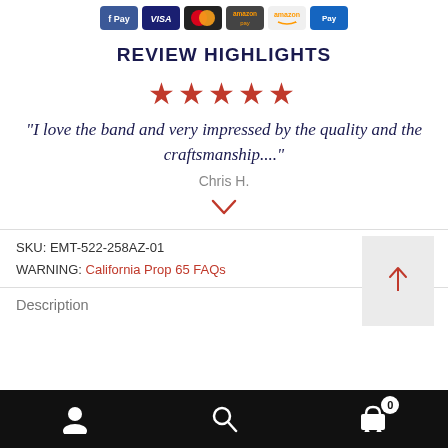[Figure (other): Payment method icons: Facebook Pay, Visa, Mastercard, Amazon Pay, Amazon, and a blue card icon]
REVIEW HIGHLIGHTS
[Figure (other): Five red star rating]
"I love the band and very impressed by the quality and the craftsmanship...."
Chris H.
[Figure (other): Red chevron/arrow pointing down]
SKU: EMT-522-258AZ-01
WARNING: California Prop 65 FAQs
Description
Account | Search | Cart (0)